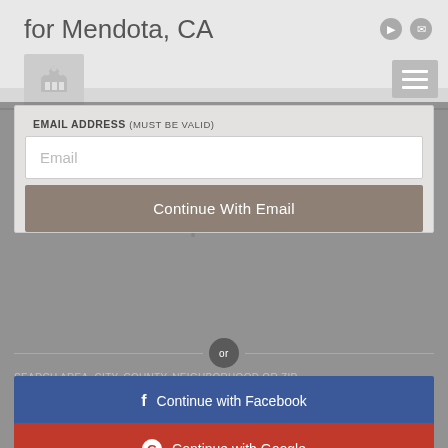for Mendota, CA
[Figure (logo): Website logo icon - stylized crest/seal in gray]
EMAIL ADDRESS (MUST BE VALID)
Email
Continue With Email
or
SEARCH AREA, CITY, COUNTY, NEIGHBORHOOD OR ZIP
f  Continue with Facebook
G  Continue with Google
See current market statistics. Stats may include valuable information such as average listing price, price reductions, new listings, etc. Instantly view the current
Market Reports